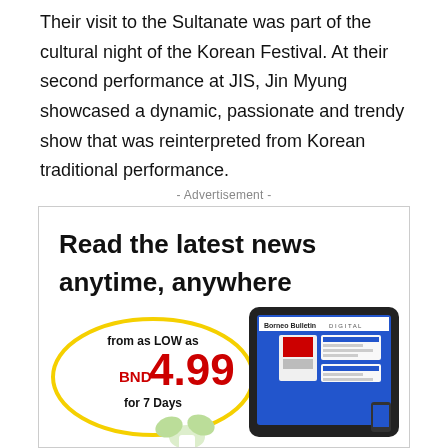Their visit to the Sultanate was part of the cultural night of the Korean Festival. At their second performance at JIS, Jin Myung showcased a dynamic, passionate and trendy show that was reinterpreted from Korean traditional performance.
- Advertisement -
[Figure (infographic): Advertisement for Borneo Bulletin Digital subscription. Text: 'Read the latest news anytime, anywhere'. Price callout in yellow oval: 'from as LOW as BND 4.99 for 7 Days'. Image of a tablet showing the Borneo Bulletin Digital website with newspaper pages.]